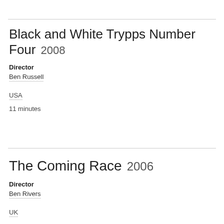Black and White Trypps Number Four 2008
Director
Ben Russell
USA
11 minutes
The Coming Race 2006
Director
Ben Rivers
UK